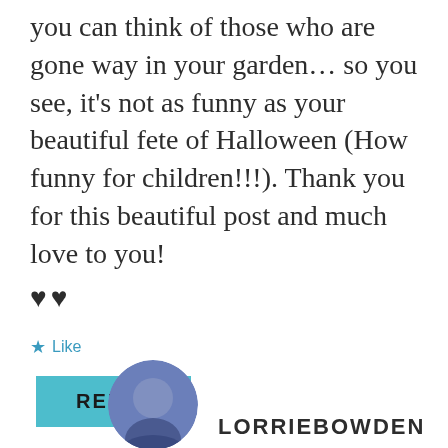you can think of those who are gone way in your garden… so you see, it's not as funny as your beautiful fete of Halloween (How funny for children!!!). Thank you for this beautiful post and much love to you! ♥♥
★ Like
REPLY
LORRIEBOWDEN